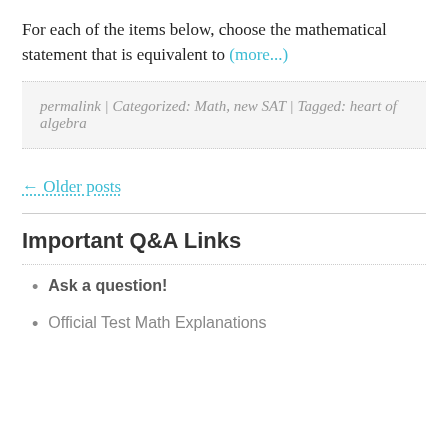For each of the items below, choose the mathematical statement that is equivalent to (more...)
permalink | Categorized: Math, new SAT | Tagged: heart of algebra
← Older posts
Important Q&A Links
Ask a question!
Official Test Math Explanations